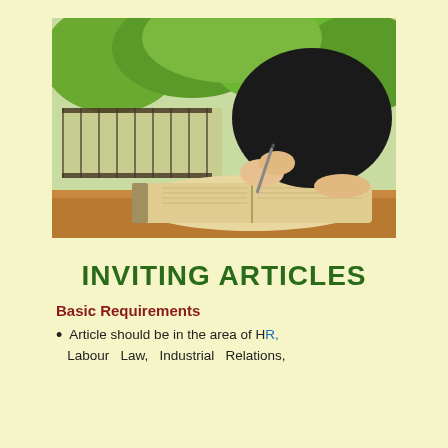[Figure (photo): A person in black clothing writing in an open notebook/book on a wooden table, with green trees visible in the background through a railing.]
INVITING ARTICLES
Basic Requirements
Article should be in the area of HR, Labour Law, Industrial Relations,